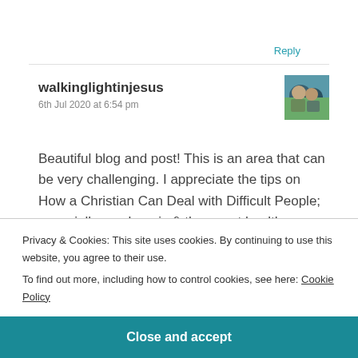Reply
walkinglightinjesus
6th Jul 2020 at 6:54 pm
[Figure (photo): Small avatar photo of two people outdoors]
Beautiful blog and post! This is an area that can be very challenging. I appreciate the tips on How a Christian Can Deal with Difficult People; especially number six & three, set healthy boundaries and pray for them are two
Privacy & Cookies: This site uses cookies. By continuing to use this website, you agree to their use.
To find out more, including how to control cookies, see here: Cookie Policy
Close and accept